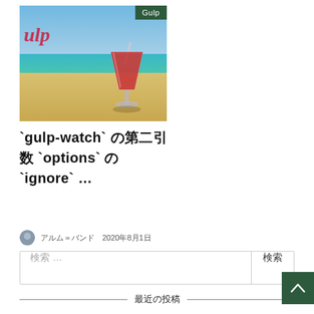[Figure (illustration): Blog post card image showing a beach scene with tropical cocktail drink and Gulp branding label in top-right corner]
`gulp-watch` の第二引数 `options` の `ignore` …
アルム＝バンド  2020年8月1日
検索 …
最近の投稿